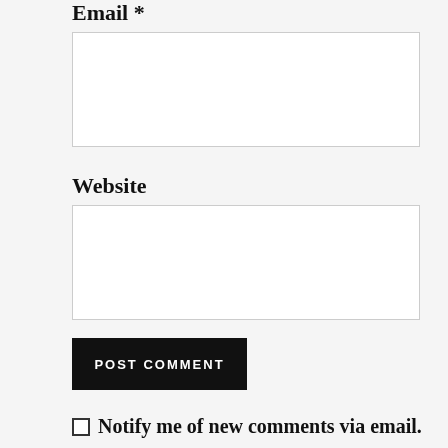Email *
[Figure (other): Empty email text input field with white background and gray border]
Website
[Figure (other): Empty website text input field with white background and gray border]
POST COMMENT
Notify me of new comments via email.
Privacy & Cookies: This site uses cookies. By continuing to use this website, you agree to their use.
To find out more, including how to control cookies, see here:
Cookie Policy
Close and accept